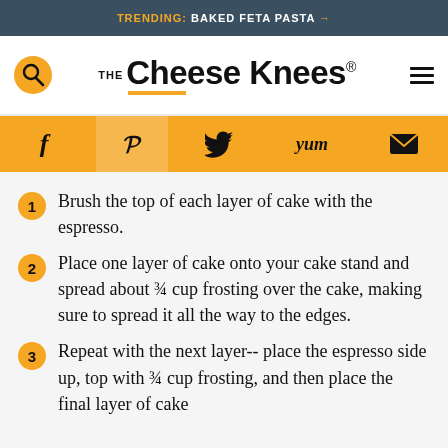TRENDING: BAKED FETA PASTA →
[Figure (logo): The Cheese Knees logo with search icon and hamburger menu]
Social share bar with Facebook, Pinterest, Twitter, Yummly, Email icons
1. Brush the top of each layer of cake with the espresso.
2. Place one layer of cake onto your cake stand and spread about ¾ cup frosting over the cake, making sure to spread it all the way to the edges.
3. Repeat with the next layer-- place the espresso side up, top with ¾ cup frosting, and then place the final layer of cake